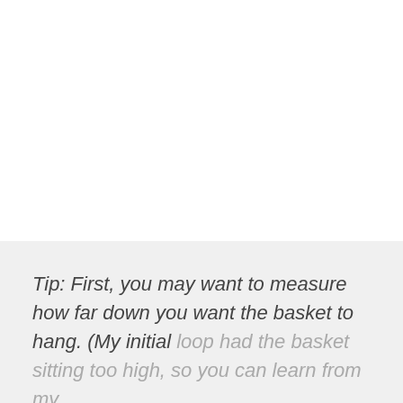Tip: First, you may want to measure how far down you want the basket to hang. (My initial loop had the basket sitting too high, so you can learn from my